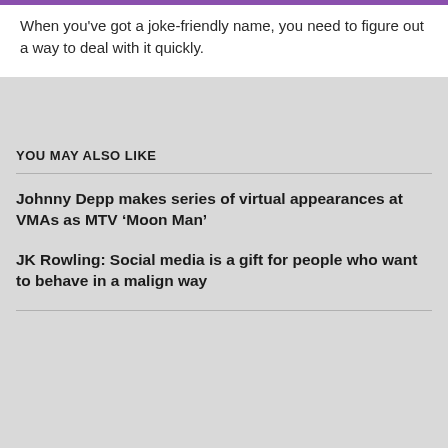When you've got a joke-friendly name, you need to figure out a way to deal with it quickly.
YOU MAY ALSO LIKE
Johnny Depp makes series of virtual appearances at VMAs as MTV ‘Moon Man’
JK Rowling: Social media is a gift for people who want to behave in a malign way